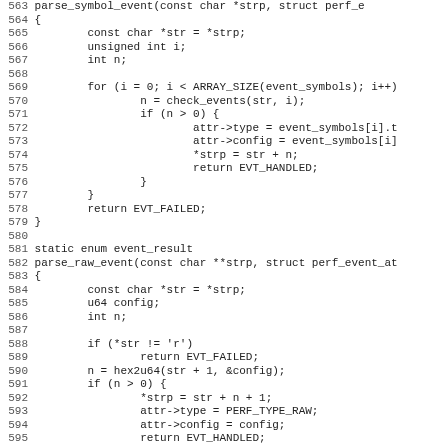[Figure (screenshot): Source code listing showing C functions parse_symbol_event and parse_raw_event, lines 563-595, with line numbers on the left and monospace code on the right.]